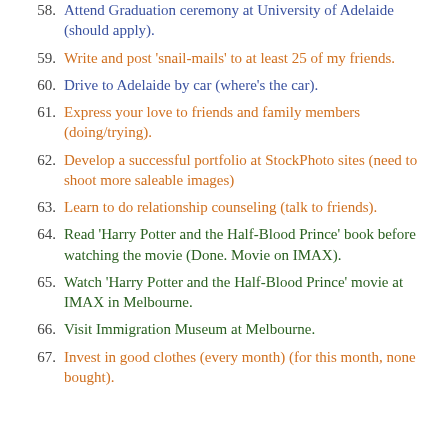58. Attend Graduation ceremony at University of Adelaide (should apply).
59. Write and post 'snail-mails' to at least 25 of my friends.
60. Drive to Adelaide by car (where's the car).
61. Express your love to friends and family members (doing/trying).
62. Develop a successful portfolio at StockPhoto sites (need to shoot more saleable images)
63. Learn to do relationship counseling (talk to friends).
64. Read 'Harry Potter and the Half-Blood Prince' book before watching the movie (Done. Movie on IMAX).
65. Watch 'Harry Potter and the Half-Blood Prince' movie at IMAX in Melbourne.
66. Visit Immigration Museum at Melbourne.
67. Invest in good clothes (every month) (for this month, none bought).